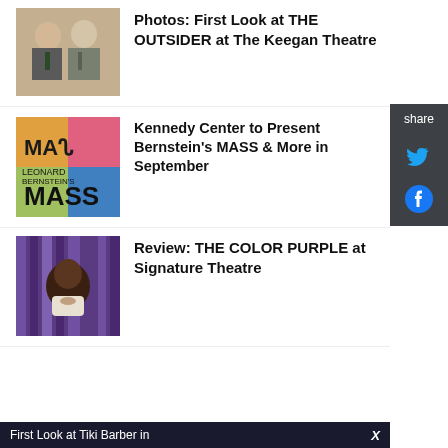[Figure (photo): Two men in suits talking, one bald]
Photos: First Look at THE OUTSIDER at The Keegan Theatre
[Figure (photo): Leonard Bernstein's MASS theatrical poster with colorful design]
Kennedy Center to Present Bernstein's MASS & More in September
[Figure (photo): Black woman against purple background]
Review: THE COLOR PURPLE at Signature Theatre
First Look at Tiki Barber in
share
[Figure (logo): Twitter bird icon in cyan]
[Figure (logo): Facebook icon in cyan]